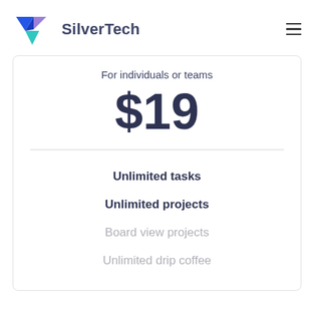[Figure (logo): SilverTech logo with geometric arrow shapes in blue, purple, and teal, followed by the text SilverTech]
For individuals or teams
$19
Unlimited tasks
Unlimited projects
Board view projects
Unlimited drip coffee